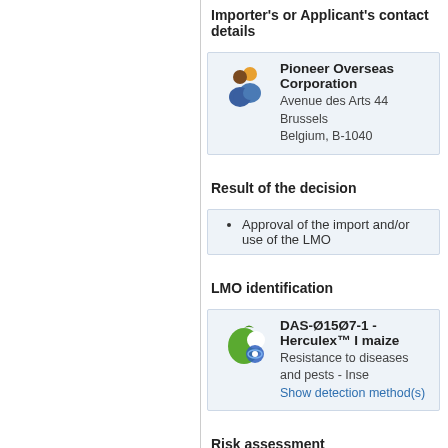Importer's or Applicant's contact details
Pioneer Overseas Corporation
Avenue des Arts 44
Brussels
Belgium, B-1040
Result of the decision
Approval of the import and/or use of the LMO
LMO identification
DAS-Ø15Ø7-1 - Herculex™ I maize
Resistance to diseases and pests - Inse
Show detection method(s)
Risk assessment
Opinion of the Scientific Panel on Ge
related to the notification (Reference
maize 1507, for import and processin
Seeds
DAS-Ø15Ø7-1 - Herculex™ I maize
Resistance to diseases and pests - Inse
Resistance to herbicides - Glufosinate